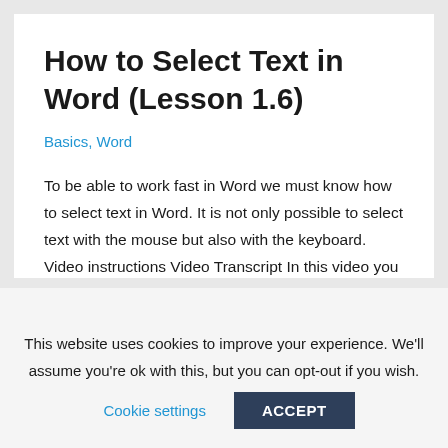How to Select Text in Word (Lesson 1.6)
Basics, Word
To be able to work fast in Word we must know how to select text in Word. It is not only possible to select text with the mouse but also with the keyboard. Video instructions Video Transcript In this video you will learn how to navigate through the text and how to highlight text. You will need this, …
Read More »
This website uses cookies to improve your experience. We'll assume you're ok with this, but you can opt-out if you wish.
Cookie settings
ACCEPT